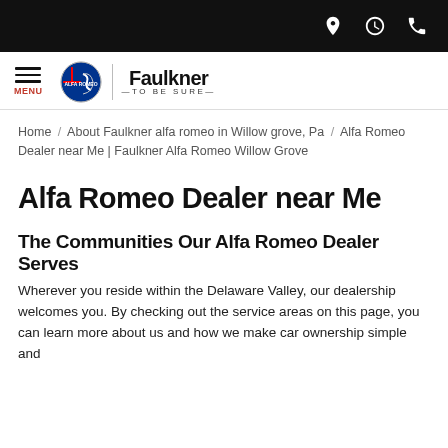[top bar with location, clock, phone icons]
[Figure (logo): Faulkner Alfa Romeo logo with hamburger menu and MENU label on left, Alfa Romeo circular badge, vertical divider, Faulkner TO BE SURE wordmark]
Home / About Faulkner alfa romeo in Willow grove, Pa / Alfa Romeo Dealer near Me | Faulkner Alfa Romeo Willow Grove
Alfa Romeo Dealer near Me
The Communities Our Alfa Romeo Dealer Serves
Wherever you reside within the Delaware Valley, our dealership welcomes you. By checking out the service areas on this page, you can learn more about us and how we make car ownership simple and